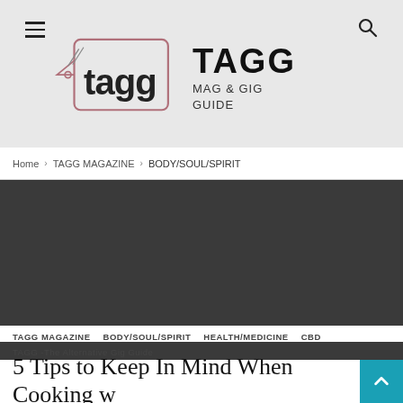TAGG MAG & GIG GUIDE
Home › TAGG MAGAZINE › BODY/SOUL/SPIRIT
[Figure (photo): Dark gray banner background image area for article header]
TAGG MAGAZINE
BODY/SOUL/SPIRIT
HEALTH/MEDICINE
CBD
TAGG -The Alternative Gig Guide
5 Tips to Keep In Mind When Cooking with Kief